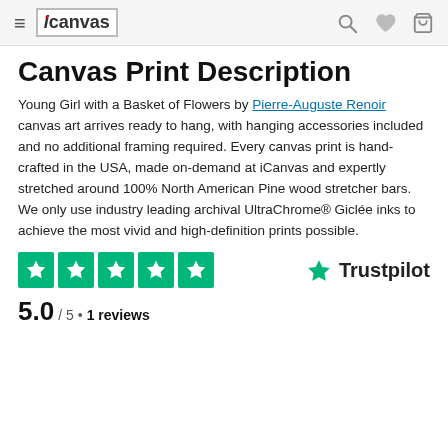iCanvas navigation header with menu, logo, search, wishlist, and cart icons
Canvas Print Description
Young Girl with a Basket of Flowers by Pierre-Auguste Renoir canvas art arrives ready to hang, with hanging accessories included and no additional framing required. Every canvas print is hand-crafted in the USA, made on-demand at iCanvas and expertly stretched around 100% North American Pine wood stretcher bars. We only use industry leading archival UltraChrome® Giclée inks to achieve the most vivid and high-definition prints possible.
[Figure (other): Trustpilot 5-star rating widget showing 5 green stars, score 5.0 / 5 • 1 reviews, and Trustpilot logo]